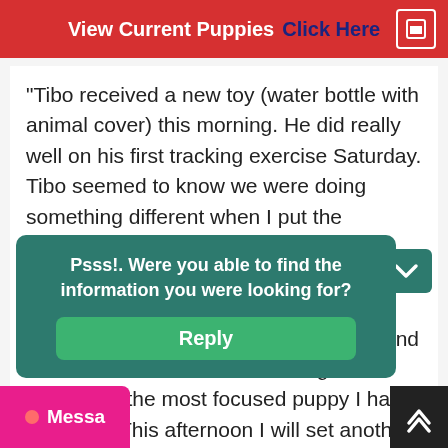View Current Puppies  Click Here
"Tibo received a new toy (water bottle with animal cover) this morning. He did really well on his first tracking exercise Saturday. Tibo seemed to know we were doing something different when I put the harness on him. He began to focus not pull puppy nonsense... Biting leash, tugging on leash... He followed me out and sat at the start. Then I helped him find each treat on the track and the glove at end. He is the most focused puppy I have ever had. This afternoon I will set another track for him. At some point I will t
Psss!. Were you able to find the information you were looking for?
Reply